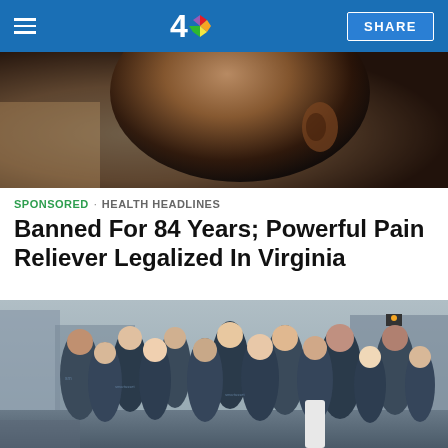NBC4 - SHARE
[Figure (photo): Close-up photograph of a person's head/ear profile, dark skin tones, warm background]
SPONSORED · HEALTH HEADLINES
Banned For 84 Years; Powerful Pain Reliever Legalized In Virginia
[Figure (photo): Group photo of approximately 12-13 people wearing matching navy blue 'smartasset' branded t-shirts, posing on a city street]